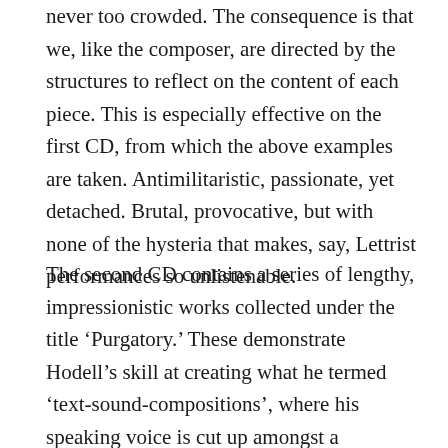never too crowded. The consequence is that we, like the composer, are directed by the structures to reflect on the content of each piece. This is especially effective on the first CD, from which the above examples are taken. Antimilitaristic, passionate, yet detached. Brutal, provocative, but with none of the hysteria that makes, say, Lettrist performances so unlistenable.
The second CD contains a series of lengthy, impressionistic works collected under the title ‘Purgatory.’ These demonstrate Hodell’s skill at creating what he termed ‘text-sound-compositions’, where his speaking voice is cut up amongst a restricted palette of musique concrète sources. The sounds of a ferry, crows and primitive electronic transformations accompany his